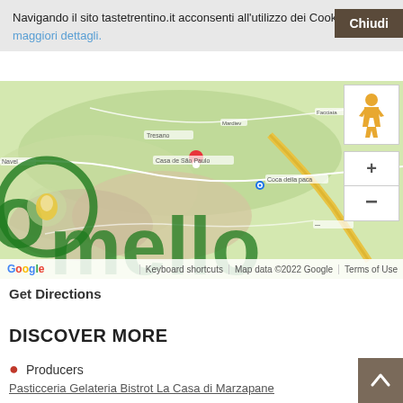Navigando il sito tastetrentino.it acconsenti all'utilizzo dei Cookie. Per maggiori dettagli.
Chiudi
[Figure (map): Google Maps embed showing a mountainous region in Trentino, Italy, with green terrain, mountain roads, and location pins. Includes Street View pegman button, zoom controls (+/-), and footer showing Google logo, Keyboard shortcuts, Map data ©2022 Google, Terms of Use.]
Get Directions
DISCOVER MORE
Producers
Pasticceria Gelateria Bistrot La Casa di Marzapane